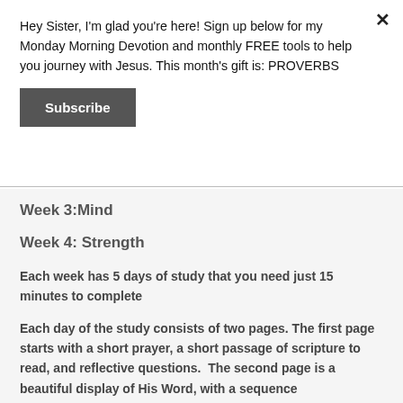Hey Sister, I'm glad you're here! Sign up below for my Monday Morning Devotion and monthly FREE tools to help you journey with Jesus. This month's gift is: PROVERBS
Subscribe
Week 3:Mind
Week 4: Strength
Each week has 5 days of study that you need just 15 minutes to complete
Each day of the study consists of two pages. The first page starts with a short prayer, a short passage of scripture to read, and reflective questions.  The second page is a beautiful display of His Word, with a sequence